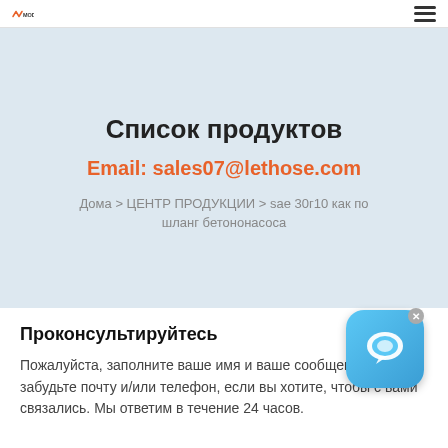MODERNHOSE (logo) | hamburger menu
Список продуктов
Email: sales07@lethose.com
Дома > ЦЕНТР ПРОДУКЦИИ > sae 30r10 как по шланг бетононасоса
[Figure (illustration): Chat bubble icon - blue rounded square with speech bubble icon and close X button in top right]
Проконсультируйтесь
Пожалуйста, заполните ваше имя и ваше сообщение и не забудьте почту и/или телефон, если вы хотите, чтобы с вами связались. Мы ответим в течение 24 часов.